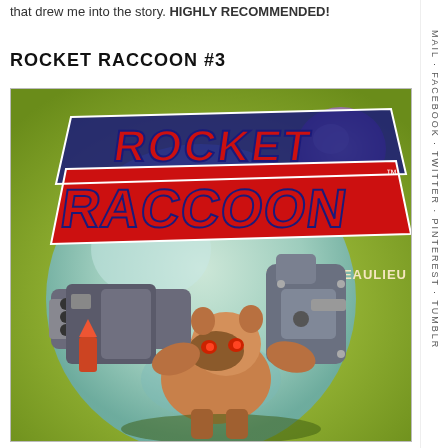that drew me into the story. HIGHLY RECOMMENDED!
ROCKET RACCOON #3
[Figure (illustration): Comic book cover for Rocket Raccoon #3 by Young and Beaulieu. Rocket Raccoon character holding large futuristic weapons, with the title 'Rocket Raccoon' in large red and blue lettering on a green/teal background with a large moon/planet sphere.]
MAIL · FACEBOOK · TWITTER · PINTEREST · TUMBLR